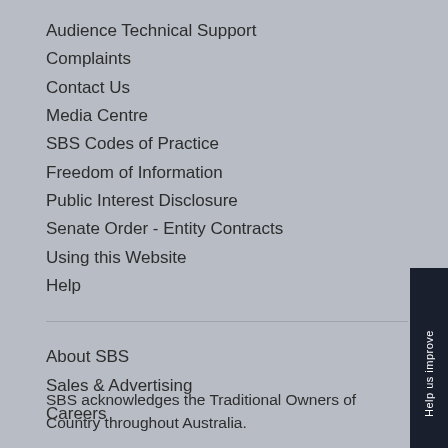Audience Technical Support
Complaints
Contact Us
Media Centre
SBS Codes of Practice
Freedom of Information
Public Interest Disclosure
Senate Order - Entity Contracts
Using this Website
Help
About SBS
Sales & Advertising
Careers
SBS acknowledges the Traditional Owners of Country throughout Australia.